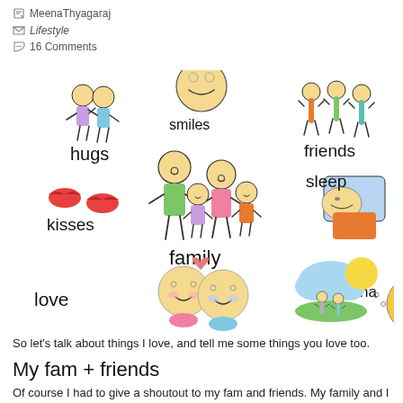MeenaThyagaraj
Lifestyle
16 Comments
[Figure (illustration): Colorful doodle illustration showing cute stick figures representing concepts: hugs (two figures embracing), smiles (smiley face), friends (three walking figures), kisses (red lips), family (parents and children holding hands), sleep (figure sleeping with pillow), love (two figures with heart), ha ha (laughing face), outdoor scene with cloud and sun]
So let's talk about things I love, and tell me some things you love too.
My fam + friends
Of course I had to give a shoutout to my fam and friends. My family and I are the super closest and i miss them loads and loads.